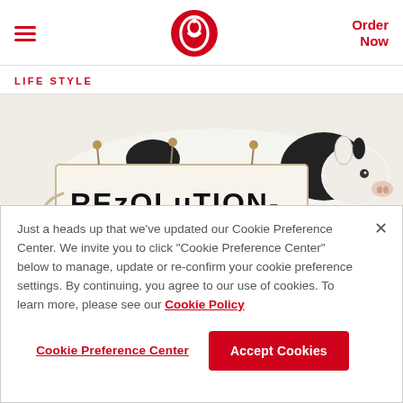Chick-fil-A header with hamburger menu, logo, and Order Now link
LIFESTYLE
[Figure (photo): A black and white cow wearing a hand-painted sign that reads 'REZOLUTION-']
Just a heads up that we've updated our Cookie Preference Center. We invite you to click "Cookie Preference Center" below to manage, update or re-confirm your cookie preference settings. By continuing, you agree to our use of cookies. To learn more, please see our Cookie Policy
Cookie Preference Center | Accept Cookies